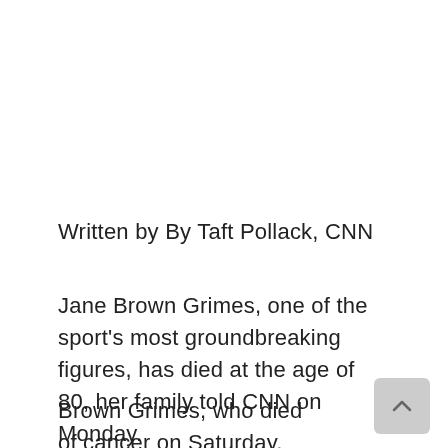Written by By Taft Pollack, CNN
Jane Brown Grimes, one of the sport's most groundbreaking figures, has died at the age of 80, her family told CNN on Monday.
Brown Grimes, who died of cancer on Saturday, was the sole female coach of the